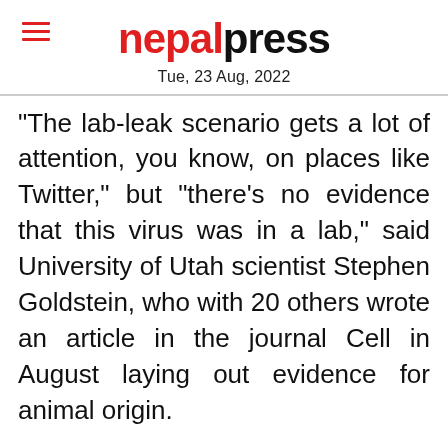nepalpress
Tue, 23 Aug, 2022
“The lab-leak scenario gets a lot of attention, you know, on places like Twitter,” but “there’s no evidence that this virus was in a lab,” said University of Utah scientist Stephen Goldstein, who with 20 others wrote an article in the journal Cell in August laying out evidence for animal origin.